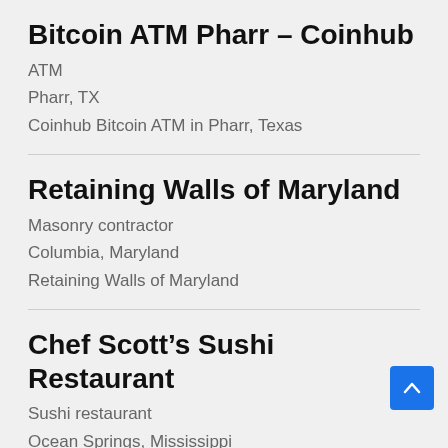Bitcoin ATM Pharr – Coinhub
ATM
Pharr, TX
Coinhub Bitcoin ATM in Pharr, Texas
Retaining Walls of Maryland
Masonry contractor
Columbia, Maryland
Retaining Walls of Maryland
Chef Scott's Sushi Restaurant
Sushi restaurant
Ocean Springs, Mississippi